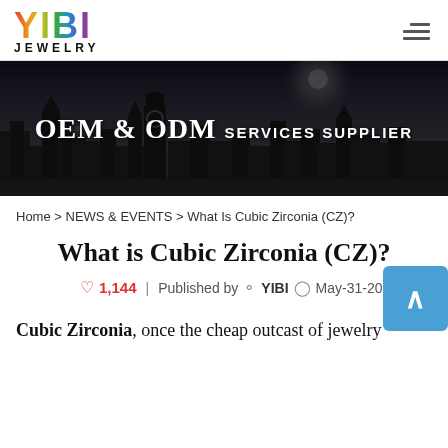YIBI JEWELRY
[Figure (photo): Dark banner image of a city skyline at night with text 'OEM & ODM SERVICES SUPPLIER']
Home > NEWS & EVENTS > What Is Cubic Zirconia (CZ)?
What is Cubic Zirconia (CZ)?
♡ 1,144 | Published by  YIBI  May-31-20...
Cubic Zirconia, once the cheap outcast of jewelry